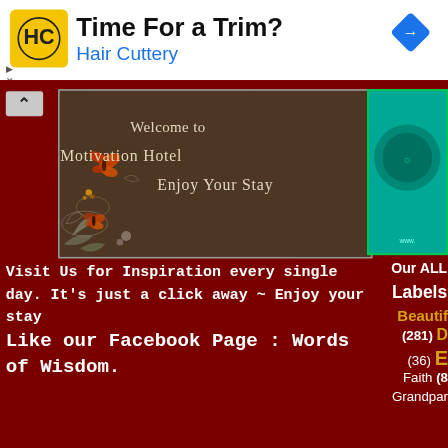[Figure (screenshot): Advertisement banner for Hair Cuttery with logo, headline 'Time For a Trim?' and blue subtext 'Hair Cuttery', with a blue diamond arrow icon on the right]
[Figure (photo): Welcome to The Motivation Hotel - Enjoy Your Stay. Dark brown/grey decorative card with floral butterfly design and white text.]
Visit Us for Inspiration every single day. It's just a click away ~ Enjoy your stay
Like our Facebook Page : Words of Wisdom.
Our ALL
Labels
Beautif (281) D (36) E Faith (8 Grandpar